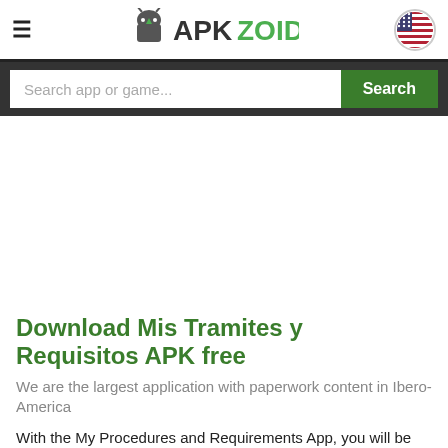APKZOID
Search app or game...
[Figure (other): Advertisement/empty white space area]
Download Mis Tramites y Requisitos APK free
We are the largest application with paperwork content in Ibero-America
With the My Procedures and Requirements App, you will be